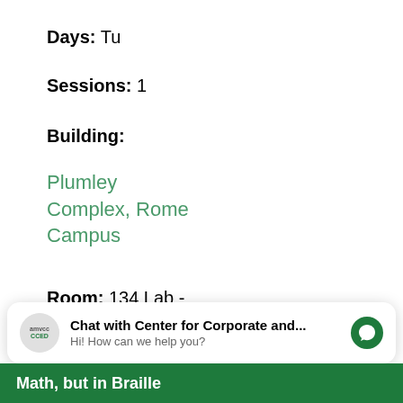Days: Tu
Sessions: 1
Building:
Plumley Complex, Rome Campus
Room: 134 Lab - Food/Cooking
Add Registration
Chat with Center for Corporate and... Hi! How can we help you?
Math, but in Braille